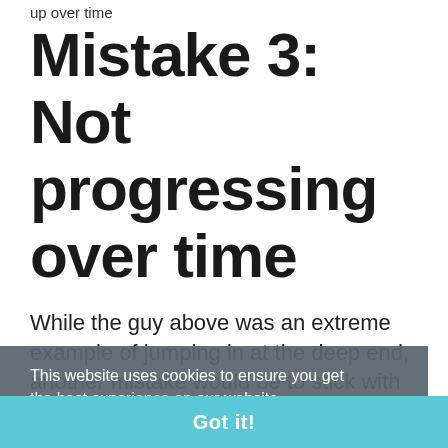up over time
Mistake 3: Not progressing over time
While the guy above was an extreme example of jumping in at the deep end, another mistake would be to stick with the same exercises, for the same duration and use the same weights week after week.
This website uses cookies to ensure you get the best experience on our website.
Learn more
Got it!